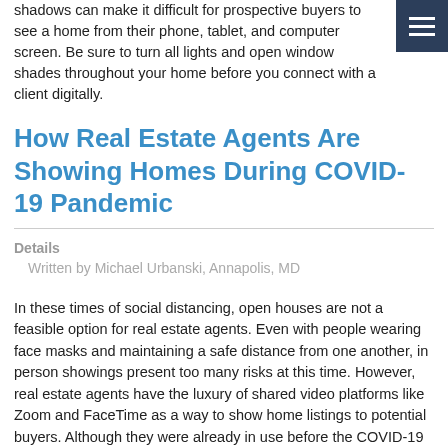shadows can make it difficult for prospective buyers to see a home from their phone, tablet, and computer screen. Be sure to turn all lights and open window shades throughout your home before you connect with a client digitally.
How Real Estate Agents Are Showing Homes During COVID-19 Pandemic
Details
Written by Michael Urbanski, Annapolis, MD
In these times of social distancing, open houses are not a feasible option for real estate agents. Even with people wearing face masks and maintaining a safe distance from one another, in person showings present too many risks at this time. However, real estate agents have the luxury of shared video platforms like Zoom and FaceTime as a way to show home listings to potential buyers. Although they were already in use before the COVID-19 outbreak, they have increased in popularity in the last several weeks. A guided walk through using a shared video platform allows a buyer